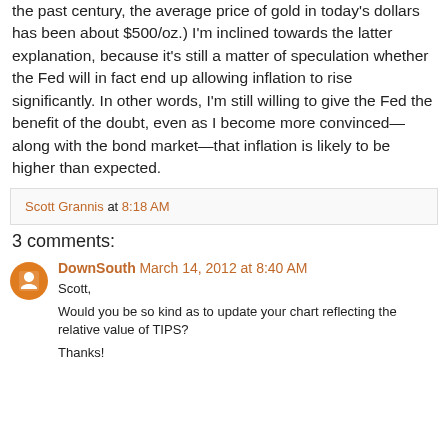the past century, the average price of gold in today's dollars has been about $500/oz.) I'm inclined towards the latter explanation, because it's still a matter of speculation whether the Fed will in fact end up allowing inflation to rise significantly. In other words, I'm still willing to give the Fed the benefit of the doubt, even as I become more convinced—along with the bond market—that inflation is likely to be higher than expected.
Scott Grannis at 8:18 AM
3 comments:
DownSouth March 14, 2012 at 8:40 AM
Scott,
Would you be so kind as to update your chart reflecting the relative value of TIPS?
Thanks!